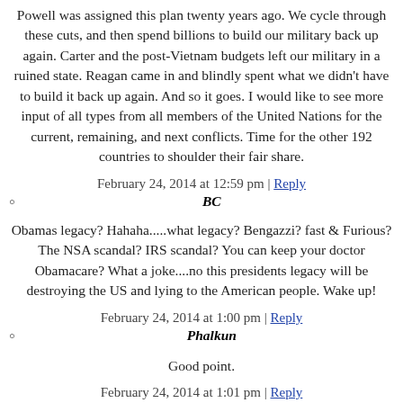Powell was assigned this plan twenty years ago. We cycle through these cuts, and then spend billions to build our military back up again. Carter and the post-Vietnam budgets left our military in a ruined state. Reagan came in and blindly spent what we didn't have to build it back up again. And so it goes. I would like to see more input of all types from all members of the United Nations for the current, remaining, and next conflicts. Time for the other 192 countries to shoulder their fair share.
February 24, 2014 at 12:59 pm | Reply
BC
Obamas legacy? Hahaha.....what legacy? Bengazzi? fast & Furious? The NSA scandal? IRS scandal? You can keep your doctor Obamacare? What a joke....no this presidents legacy will be destroying the US and lying to the American people. Wake up!
February 24, 2014 at 1:00 pm | Reply
Phalkun
Good point.
February 24, 2014 at 1:01 pm | Reply